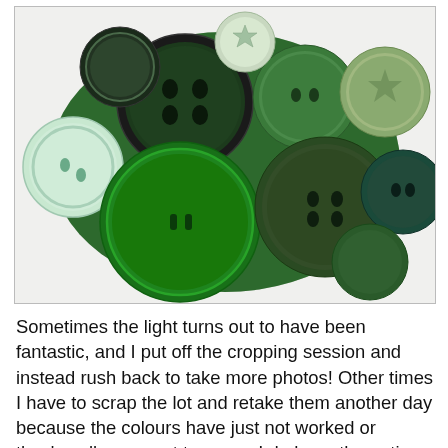[Figure (photo): A collection of various green buttons arranged on a green felt background. The buttons vary in shade from light sage green to deep forest green and dark hunter green, and come in different sizes. Some have two holes, one has a star design on top. The background is white/light grey.]
Sometimes the light turns out to have been fantastic, and I put off the cropping session and instead rush back to take more photos! Other times I have to scrap the lot and retake them another day because the colours have just not worked or they've all come out too grey. I do have the option on my photo editor to "brighten" photos but I use it very sparingly as colours can really quickly become distorted (the background looks more white but all of a sudden a mid blue looks baby pale, etc; I would much rather have accurate colours than a